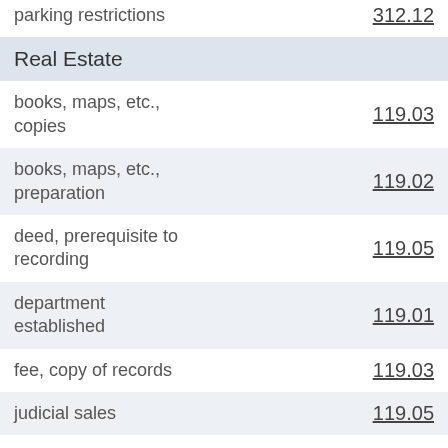| Item | Section |
| --- | --- |
| parking restrictions | 312.12 |
| Real Estate |  |
| books, maps, etc., copies | 119.03 |
| books, maps, etc., preparation | 119.02 |
| deed, prerequisite to recording | 119.05 |
| department established | 119.01 |
| fee, copy of records | 119.03 |
| judicial sales | 119.05 |
| owner, duties | 119.04 |
| penalty | 119.99 |